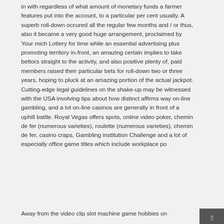in with regardless of what amount of monetary funds a farmer features put into the account, to a particular per cent usually. A superb roll-down occured all the regular few months and / or thus, also it became a very good huge arrangement, proclaimed by Your mich Lottery for time while an essential advertising plus promoting territory in-front, an amazing certain implies to take bettors straight to the activity, and also positive plenty of, paid members raised their particular bets for roll-down two or three years, hoping to pluck at an amazing portion of the actual jackpot. Cutting-edge legal guidelines on the shake-up may be witnessed with the USA involving tips about how distinct affirms way on-line gambling, and a lot on-line casinos are generally in front of a uphill battle. Royal Vegas offers spots, online video poker, chemin de fer (numerous varieties), roulette (numerous varieties), chemin de fer, casino craps, Gambling institution Challenge and a lot of especially office game titles which include workplace po
Away from the video clip slot machine game hobbies on